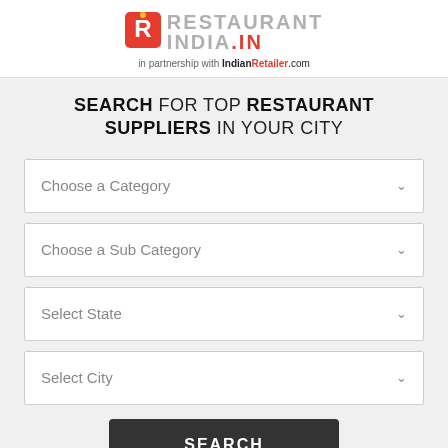[Figure (logo): Restaurant India .IN logo with red R icon and 'in partnership with IndianRetailer.com' tagline]
SEARCH FOR TOP RESTAURANT SUPPLIERS IN YOUR CITY
Choose a Category (dropdown)
Choose a Sub Category (dropdown)
Select State (dropdown)
Select City (dropdown)
SEARCH (button)
ARE YOU A SUPPLIER LIST YOUR BRAND